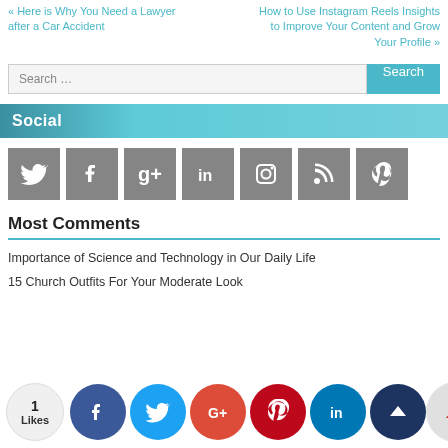« Here is Why You Need a Lawyer after a Car Accident
How to Use Instagram Reels Insights to Improve Your Content and Grow Your Profile »
Search …
Social
[Figure (other): Social media icon buttons: Twitter, Facebook, Google+, LinkedIn, Instagram, RSS, Pinterest — all grey square icons with white symbols]
Most Comments
Importance of Science and Technology in Our Daily Life
15 Church Outfits For Your Moderate Look
[Figure (other): Bottom share/social buttons: Likes counter (1 Likes), Facebook, Twitter, Google+, Pinterest, LinkedIn, Crown share buttons, and scroll-to-top arrow button]